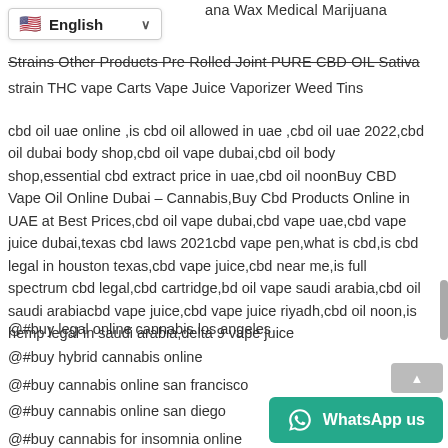M... ana Wax Medical Marijuana Strains Other Products Pre Rolled Joint PURE CBD OIL Sativa strain THC vape Carts Vape Juice Vaporizer Weed Tins
cbd oil uae online ,is cbd oil allowed in uae ,cbd oil uae 2022,cbd oil dubai body shop,cbd oil vape dubai,cbd oil body shop,essential cbd extract price in uae,cbd oil noonBuy CBD Vape Oil Online Dubai – Cannabis,Buy Cbd Products Online in UAE at Best Prices,cbd oil vape dubai,cbd vape uae,cbd vape juice dubai,texas cbd laws 2021cbd vape pen,what is cbd,is cbd legal in houston texas,cbd vape juice,cbd near me,is full spectrum cbd legal,cbd cartridge,bd oil vape saudi arabia,cbd oil saudi arabiacbd vape juice,cbd vape juice riyadh,cbd oil noon,is hemp legal in saudi arabia,delta 9 vape juice
@#buy legal online cannabis los angeles
@#buy hybrid cannabis online
@#buy cannabis online san francisco
@#buy cannabis online san diego
@#buy cannabis for insomnia online